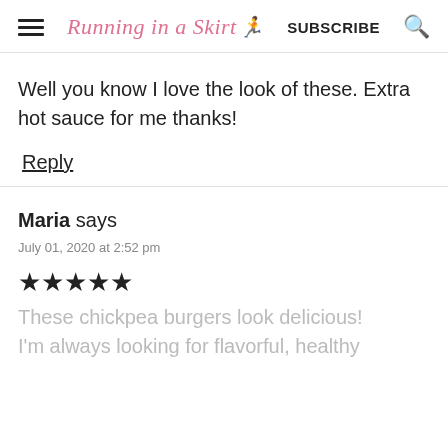Running in a Skirt  SUBSCRIBE
Well you know I love the look of these. Extra hot sauce for me thanks!
Reply
Maria says
July 01, 2020 at 2:52 pm
★★★★★
These chickpea burgers look delicious! I'm always looking for flavorful, healthy